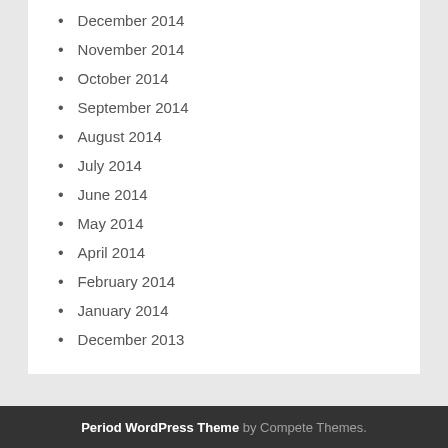December 2014
November 2014
October 2014
September 2014
August 2014
July 2014
June 2014
May 2014
April 2014
February 2014
January 2014
December 2013
Period WordPress Theme by Compete Themes.